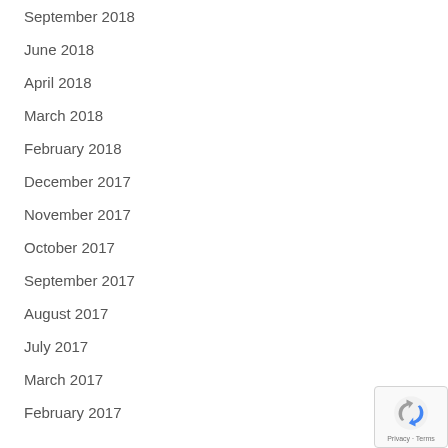September 2018
June 2018
April 2018
March 2018
February 2018
December 2017
November 2017
October 2017
September 2017
August 2017
July 2017
March 2017
February 2017